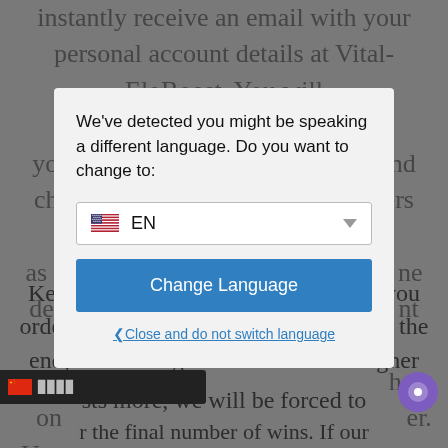instantly receive an email with your personal account details at Vital-EloBoost. You will ge...ng yo...nd ch...ers as...ne de...nt
[Figure (screenshot): Language selection modal dialog overlaying a website. Modal contains text 'We've detected you might be speaking a different language. Do you want to change to:', a dropdown showing US flag and 'EN', a blue 'Change Language' button, and a 'Close and do not switch language' link.]
Keep in mind that the more net wins you order, the higher rank you will reach at the end, and since guaranteed wins at higher sts more, we will be forced to re the final number of wins. If our